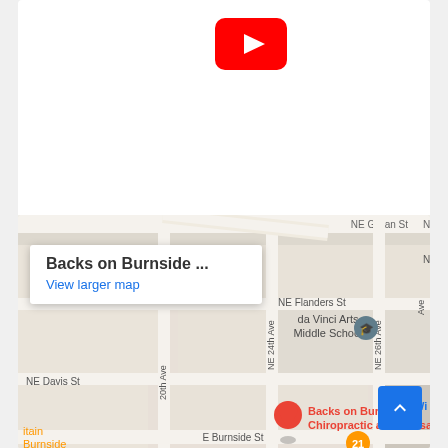[Figure (logo): YouTube logo icon - red rounded rectangle with white play button triangle]
[Figure (map): Google Maps screenshot showing street map of NE Portland area near Backs on Burnside Chiropractic and Massage. Shows NE Gilsan St, NE Flanders St, NE Davis St, E Burnside St, NE 20th Ave, NE 24th Ave, NE 26th Ave. Includes da Vinci Arts Middle School marker. Red pin marks Backs on Burnside Chiropractic and Massage location. Popup shows 'Backs on Burnside ...' with 'View larger map' link.]